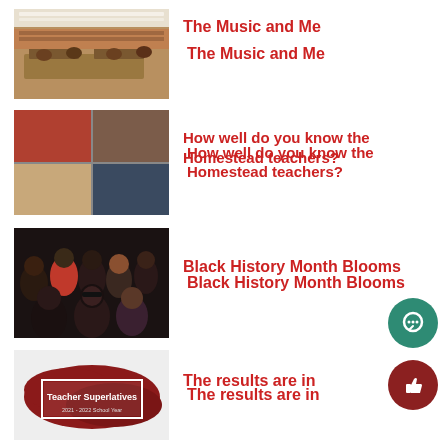[Figure (photo): Interior of a school library with seating areas and overhead lighting]
The Music and Me
[Figure (photo): 2x2 grid of teacher photos including a man at a desk and a woman in brown]
How well do you know the Homestead teachers?
[Figure (photo): Group photo of diverse students celebrating Black History Month]
Black History Month Blooms
[Figure (photo): Teacher Superlatives image with dark red brushstroke background and white text box]
The results are in